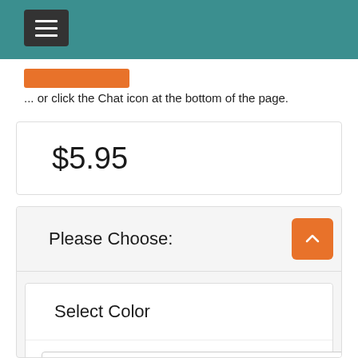[Figure (screenshot): Teal navigation bar with hamburger menu button and orange action button]
... or click the Chat icon at the bottom of the page.
$5.95
Please Choose:
Select Color
Golden Neck
Select Gender